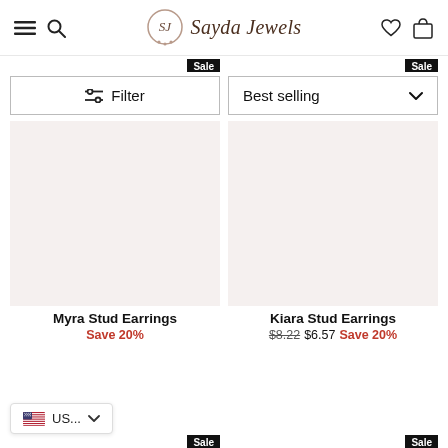Sayda Jewels — navigation header with hamburger, search, logo, heart, and bag icons
Filter
Best selling
[Figure (screenshot): Product card for Myra Stud Earrings with Sale badge and pink product image area]
[Figure (screenshot): Product card for Kiara Stud Earrings with Sale badge and pink product image area]
Myra Stud Earrings Save 20%
Kiara Stud Earrings $8.22 $6.57 Save 20%
US... (currency selector)